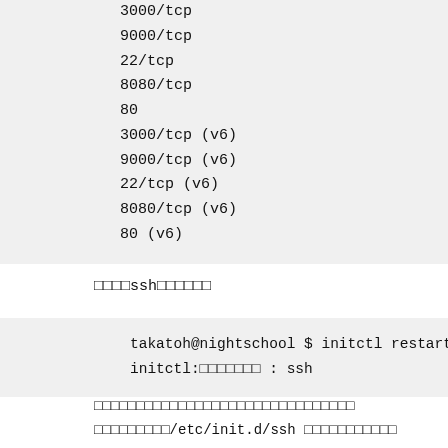| To | Action | From |
| --- | --- | --- |
| 3000/tcp | ALLOW | Anyw |
| 9000/tcp | ALLOW | Anyw |
| 22/tcp | ALLOW | Anyw |
| 8080/tcp | ALLOW | Anyw |
| 80 | ALLOW | Anyw |
| 3000/tcp (v6) | ALLOW | Anyw |
| 9000/tcp (v6) | ALLOW | Anyw |
| 22/tcp (v6) | ALLOW | Anyw |
| 8080/tcp (v6) | ALLOW | Anyw |
| 80 (v6) | ALLOW | Anyw |
□□□□ssh□□□□□□
takatoh@nightschool $ initctl restart ssh
initctl:□□□□□□□ : ssh
□□□□□□□□□□□□□□□□□□□□□□□□□□□□□□□
□□□□□□□□□/etc/init.d/ssh □□□□□□□□□□□